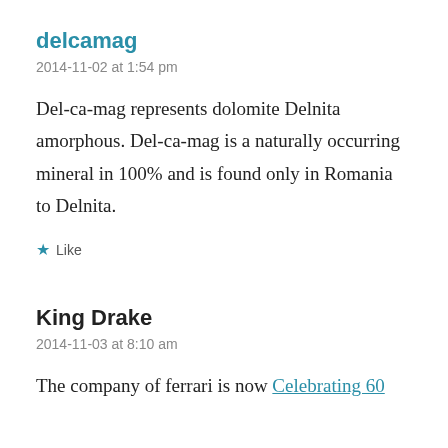delcamag
2014-11-02 at 1:54 pm
Del-ca-mag represents dolomite Delnita amorphous. Del-ca-mag is a naturally occurring mineral in 100% and is found only in Romania to Delnita.
★ Like
King Drake
2014-11-03 at 8:10 am
The company of ferrari is now Celebrating 60